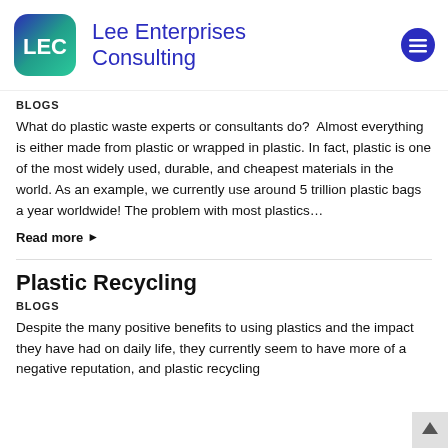[Figure (logo): Lee Enterprises Consulting logo with LEC text on teal/green rounded square, company name in blue, and hamburger menu icon]
BLOGS
What do plastic waste experts or consultants do?  Almost everything is either made from plastic or wrapped in plastic. In fact, plastic is one of the most widely used, durable, and cheapest materials in the world. As an example, we currently use around 5 trillion plastic bags a year worldwide! The problem with most plastics...
Read more ▶
Plastic Recycling
BLOGS
Despite the many positive benefits to using plastics and the impact they have had on daily life, they currently seem to have more of a negative reputation, and plastic recycling